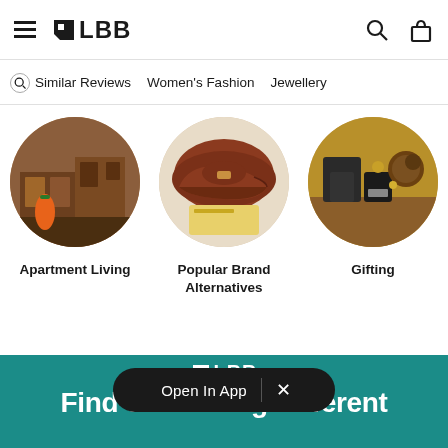LBB navigation bar with hamburger menu, LBB logo, search icon, and bag icon
Similar Reviews   Women's Fashion   Jewellery
[Figure (photo): Three circular category images: Apartment Living (wooden furniture with orange object), Popular Brand Alternatives (brown leather shoe/loafer), Gifting (decorative items on wooden surface)]
Apartment Living
Popular Brand Alternatives
Gifting
[Figure (screenshot): Teal/dark-cyan colored background section showing partial LBB logo in white and text 'Find Something Different' in bold white]
Open In App
Find Something Different